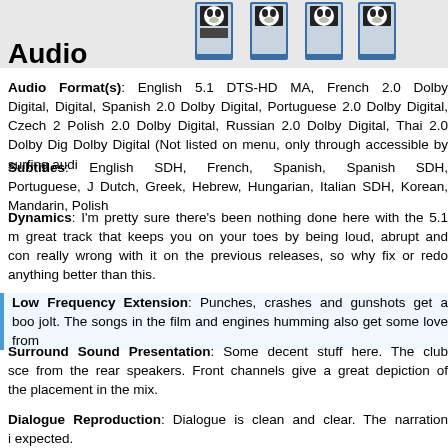[Figure (photo): Row of Blu-ray disc cases at the top of the page]
Audio
Audio Format(s): English 5.1 DTS-HD MA, French 2.0 Dolby Digital, Digital, Spanish 2.0 Dolby Digital, Portuguese 2.0 Dolby Digital, Czech 2, Polish 2.0 Dolby Digital, Russian 2.0 Dolby Digital, Thai 2.0 Dolby Dig... Dolby Digital (Not listed on menu, only through accessible by surfing audi...
Subtitles: English SDH, French, Spanish, Spanish SDH, Portuguese, J... Dutch, Greek, Hebrew, Hungarian, Italian SDH, Korean, Mandarin, Polish...
Dynamics: I'm pretty sure there's been nothing done here with the 5.1 m... great track that keeps you on your toes by being loud, abrupt and con... really wrong with it on the previous releases, so why fix or redo anything... better than this.
Low Frequency Extension: Punches, crashes and gunshots get a boo... jolt. The songs in the film and engines humming also get some love from...
Surround Sound Presentation: Some decent stuff here. The club sce... from the rear speakers. Front channels give a great depiction of the... placement in the mix.
Dialogue Reproduction: Dialogue is clean and clear. The narration i... expected.